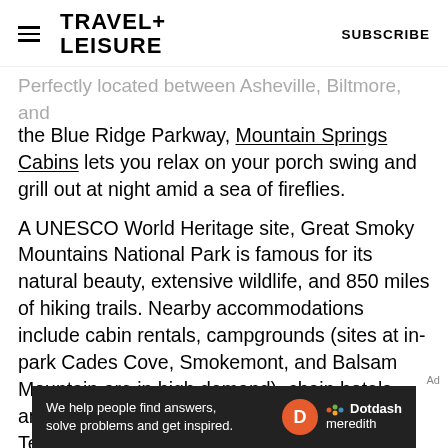TRAVEL+ LEISURE   SUBSCRIBE
Perfectly located between Asheville, Biltmore, and the Blue Ridge Parkway, Mountain Springs Cabins lets you relax on your porch swing and grill out at night amid a sea of fireflies.
A UNESCO World Heritage site, Great Smoky Mountains National Park is famous for its natural beauty, extensive wildlife, and 850 miles of hiking trails. Nearby accommodations include cabin rentals, campgrounds (sites at in-park Cades Cove, Smokemont, and Balsam Mountain are in high demand), chain hotels, and rustic mountain retreats (like the Lodge at Tellico and LeConte Lodge). In a
[Figure (other): Dotdash Meredith advertisement banner: 'We help people find answers, solve problems and get inspired.' with Dotdash Meredith logo.]